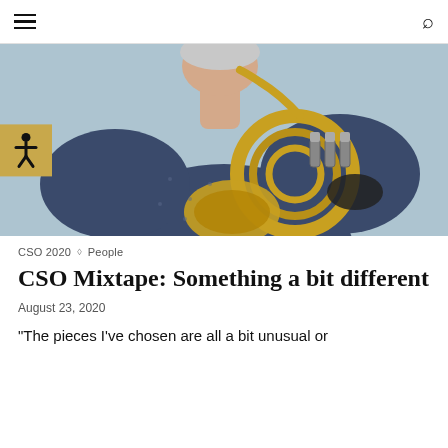≡  🔍
[Figure (photo): A woman in a navy blue dotted top holding a French horn, photographed from the shoulders up against a light blue background. She is playing the horn with her mouth.]
CSO 2020 ◇ People
CSO Mixtape: Something a bit different
August 23, 2020
"The pieces I've chosen are all a bit unusual or